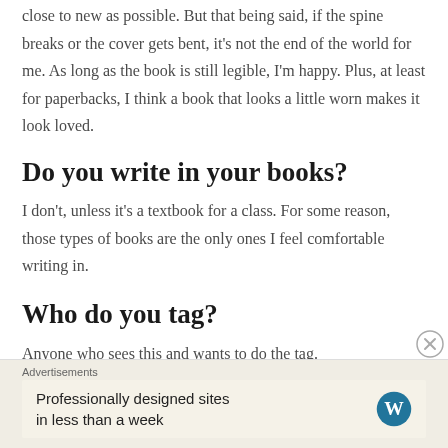close to new as possible. But that being said, if the spine breaks or the cover gets bent, it's not the end of the world for me. As long as the book is still legible, I'm happy. Plus, at least for paperbacks, I think a book that looks a little worn makes it look loved.
Do you write in your books?
I don't, unless it's a textbook for a class. For some reason, those types of books are the only ones I feel comfortable writing in.
Who do you tag?
Anyone who sees this and wants to do the tag.
Advertisements
Professionally designed sites in less than a week